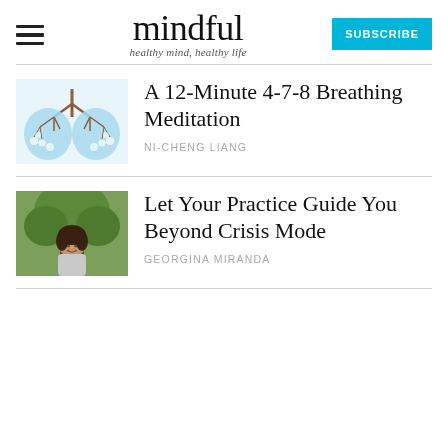mindful — healthy mind, healthy life
A 12-Minute 4-7-8 Breathing Meditation
NI-CHENG LIANG
Let Your Practice Guide You Beyond Crisis Mode
GEORGINA MIRANDA